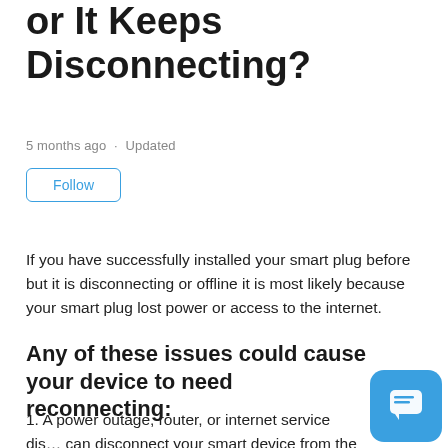or It Keeps Disconnecting?
5 months ago · Updated
Follow
If you have successfully installed your smart plug before but it is disconnecting or offline it is most likely because your smart plug lost power or access to the internet.
Any of these issues could cause your device to need reconnecting:
1. A power outage, router, or internet service dis… can disconnect your smart device from the network.